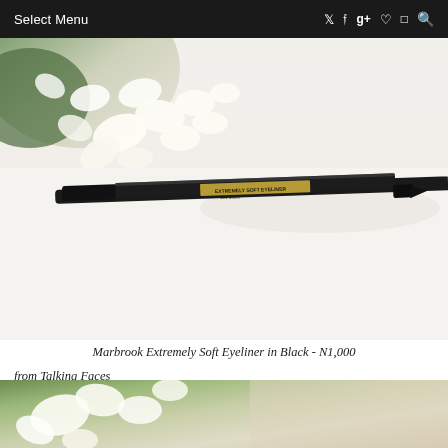Select Menu
[Figure (photo): Photograph of a Marbrook Extremely Soft Eyeliner pencil in Black (No. 101 Black) lying on a white surface with white flowers in the background. The pencil is slim, black with gold lettering.]
Marbrook Extremely Soft Eyeliner in Black - N1,000
from Talking Faces
[Figure (photo): Partial photo showing white flowers/blossoms, likely same floral background as the top image.]